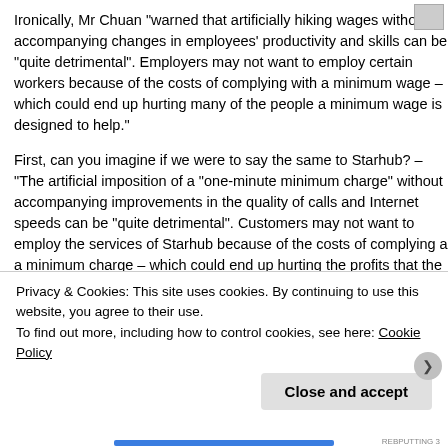Ironically, Mr Chuan “warned that artificially hiking wages without accompanying changes in employees’ productivity and skills can be “quite detrimental”. Employers may not want to employ certain workers because of the costs of complying with a minimum wage – which could end up hurting many of the people a minimum wage is designed to help.”
First, can you imagine if we were to say the same to Starhub? – “The artificial imposition of a “one-minute minimum charge” without accompanying improvements in the quality of calls and Internet speeds can be “quite detrimental”. Customers may not want to employ the services of Starhub because of the costs of complying a a minimum charge – which could end up hurting the profits that the minimum charge is designed to boost.” Of course, this is a very likely scenario – but in a fair competition scenario. Starhub would consider carefully before imposing additional costs on its customers. Of course, Starhub knows that the three...
Privacy & Cookies: This site uses cookies. By continuing to use this website, you agree to their use.
To find out more, including how to control cookies, see here: Cookie Policy
Close and accept